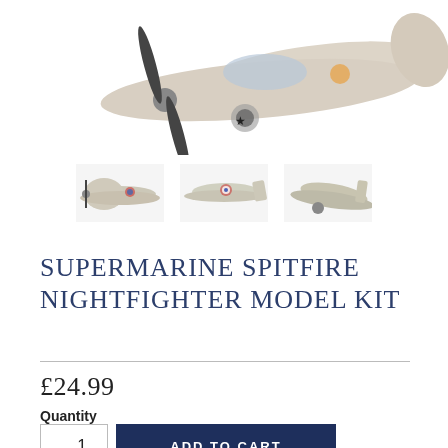[Figure (photo): Partial top view of a Supermarine Spitfire Nightfighter model kit — white/grey aircraft model with propeller visible, cropped at top of page]
[Figure (photo): Three thumbnail images of the Supermarine Spitfire Nightfighter model kit from different angles: front-left view, side view, and underside/angled view]
SUPERMARINE SPITFIRE NIGHTFIGHTER MODEL KIT
£24.99
Quantity
1
ADD TO CART